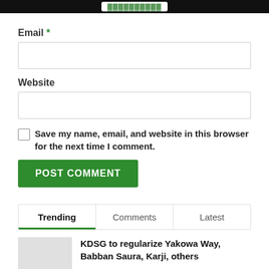Email *
Website
Save my name, email, and website in this browser for the next time I comment.
POST COMMENT
Trending | Comments | Latest
KDSG to regularize Yakowa Way, Babban Saura, Karji, others